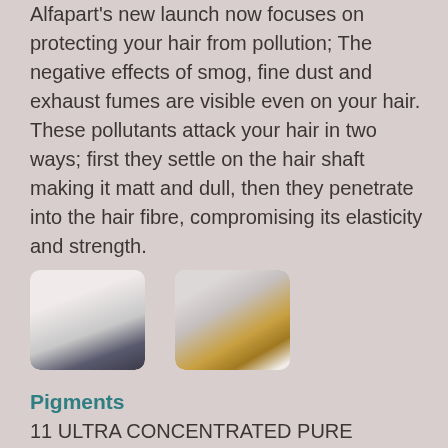Alfapart's new launch now focuses on protecting your hair from pollution; The negative effects of smog, fine dust and exhaust fumes are visible even on your hair. These pollutants attack your hair in two ways; first they settle on the hair shaft making it matt and dull, then they penetrate into the hair fibre, compromising its elasticity and strength.
[Figure (photo): Two product photos side by side: left shows dark hair product bottles, right shows amber/golden colored product bottles]
Pigments
11 ULTRA CONCENTRATED PURE PIGMENTS of latest generation with an extremely transversal use to customize all in-salon services, colour or styling and also for use at home. They're mixable to each other and the intensity of the color result can be adjusted by simply adjust adding a